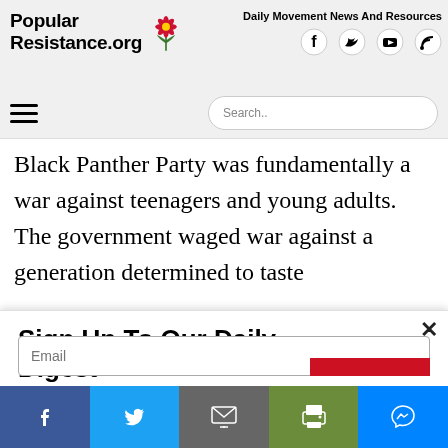Popular Resistance.org — Daily Movement News And Resources
Black Panther Party was fundamentally a war against teenagers and young adults. The government waged war against a generation determined to taste
Sign Up To Our Daily Digest
Independent media outlets are being suppressed and dropped by corporations like Google, Facebook and Twitter. Sign up for our daily email digest before it's too late so you don't miss the latest movement news.
Social share bar: Facebook, Twitter, Email, Print, Messenger